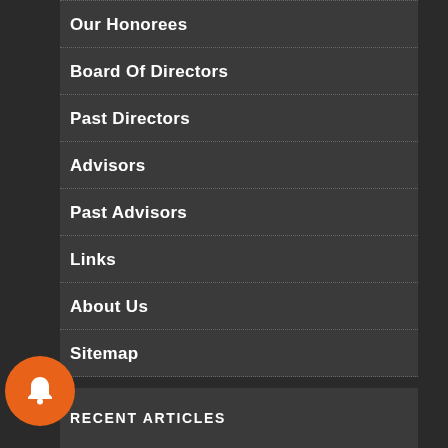Our Honorees
Board Of Directors
Past Directors
Advisors
Past Advisors
Links
About Us
Sitemap
RECENT ARTICLES